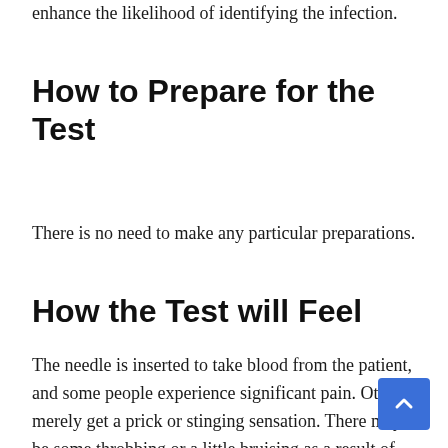enhance the likelihood of identifying the infection.
How to Prepare for the Test
There is no need to make any particular preparations.
How the Test will Feel
The needle is inserted to take blood from the patient, and some people experience significant pain. Others merely get a prick or stinging sensation. There may be some throbbing or a little bruising as a result of